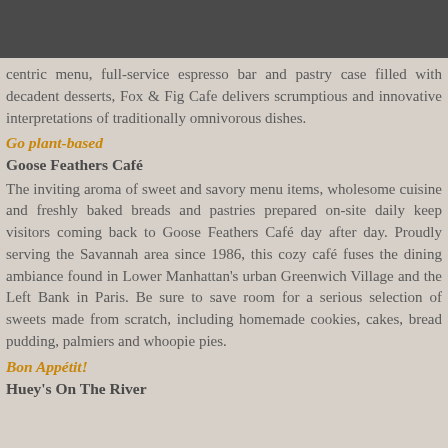centric menu, full-service espresso bar and pastry case filled with decadent desserts, Fox & Fig Cafe delivers scrumptious and innovative interpretations of traditionally omnivorous dishes.
Go plant-based
Goose Feathers Café
The inviting aroma of sweet and savory menu items, wholesome cuisine and freshly baked breads and pastries prepared on-site daily keep visitors coming back to Goose Feathers Café day after day. Proudly serving the Savannah area since 1986, this cozy café fuses the dining ambiance found in Lower Manhattan's urban Greenwich Village and the Left Bank in Paris. Be sure to save room for a serious selection of sweets made from scratch, including homemade cookies, cakes, bread pudding, palmiers and whoopie pies.
Bon Appétit!
Huey's On The River